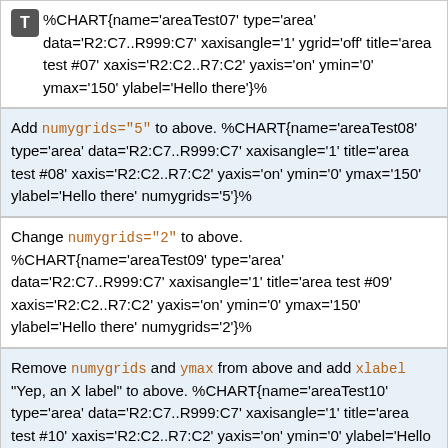%CHART{name='areaTest07' type='area' data='R2:C7..R999:C7' xaxisangle='1' ygrid='off' title='area test #07' xaxis='R2:C2..R7:C2' yaxis='on' ymin='0' ymax='150' ylabel='Hello there'}%
Add numygrids="5" to above. %CHART{name='areaTest08' type='area' data='R2:C7..R999:C7' xaxisangle='1' title='area test #08' xaxis='R2:C2..R7:C2' yaxis='on' ymin='0' ymax='150' ylabel='Hello there' numygrids='5'}%
Change numygrids="2" to above. %CHART{name='areaTest09' type='area' data='R2:C7..R999:C7' xaxisangle='1' title='area test #09' xaxis='R2:C2..R7:C2' yaxis='on' ymin='0' ymax='150' ylabel='Hello there' numygrids='2'}%
Remove numygrids and ymax from above and add xlabel "Yep, an X label" to above. %CHART{name='areaTest10' type='area' data='R2:C7..R999:C7' xaxisangle='1' title='area test #10' xaxis='R2:C2..R7:C2' yaxis='on' ymin='0' ylabel='Hello there' xlabel='Yep, an X label'}%
Add datalabel = on to above. %CHART{name='areaTest11' type='area' data='R2:C7..R999:C7' xaxisangle='1' title='area